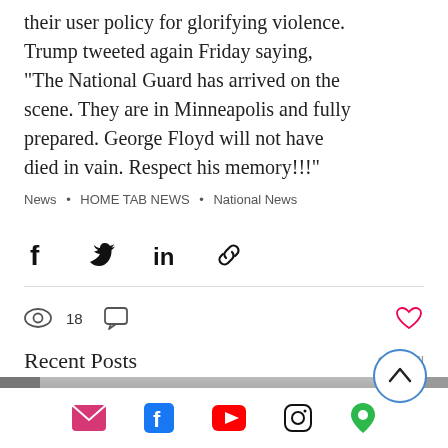their user policy for glorifying violence. Trump tweeted again Friday saying, "The National Guard has arrived on the scene. They are in Minneapolis and fully prepared. George Floyd will not have died in vain. Respect his memory!!!"
News • HOME TAB NEWS • National News
[Figure (other): Social share icons: Facebook, Twitter, LinkedIn, Link]
[Figure (other): Engagement stats bar: eye icon with 18 views, comment icon, heart/like icon]
Recent Posts
See All
[Figure (photo): Thumbnail images in a row showing recent posts — a road with a bicycle lying on it, and partial dark images on either side]
[Figure (other): Footer social media icons: email (pink envelope), Facebook (blue), YouTube (red), Instagram (black), location pin (green)]